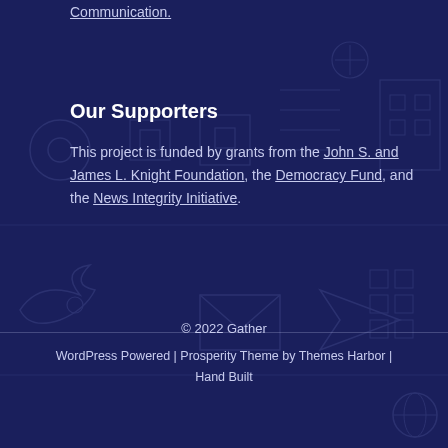Communication.
Our Supporters
This project is funded by grants from the John S. and James L. Knight Foundation, the Democracy Fund, and the News Integrity Initiative.
© 2022 Gather
WordPress Powered | Prosperity Theme by Themes Harbor | Hand Built